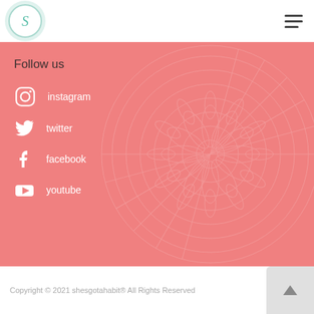[Figure (logo): Circular logo with decorative 'S' letter in teal on white background with teal border]
[Figure (other): Hamburger menu icon (three horizontal lines)]
Follow us
instagram
twitter
facebook
youtube
Copyright © 2021 shesgotahabit® All Rights Reserved